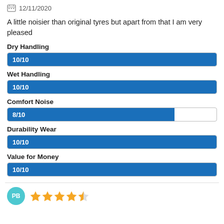12/11/2020
A little noisier than original tyres but apart from that I am very pleased
Dry Handling
[Figure (other): Rating bar: Dry Handling 10/10, full blue bar]
Wet Handling
[Figure (other): Rating bar: Wet Handling 10/10, full blue bar]
Comfort Noise
[Figure (other): Rating bar: Comfort Noise 8/10, partial blue bar (80%)]
Durability Wear
[Figure (other): Rating bar: Durability Wear 10/10, full blue bar]
Value for Money
[Figure (other): Rating bar: Value for Money 10/10, full blue bar]
[Figure (other): Reviewer avatar PB with 4 stars rating (4 full stars and 1 half star)]